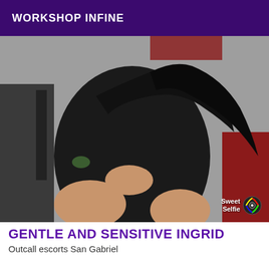WORKSHOP INFINE
[Figure (photo): A woman with long dark hair wearing a black outfit, photographed from behind/side in a room. A Sweet Selfie watermark is visible in the bottom right corner.]
GENTLE AND SENSITIVE INGRID
Outcall escorts San Gabriel